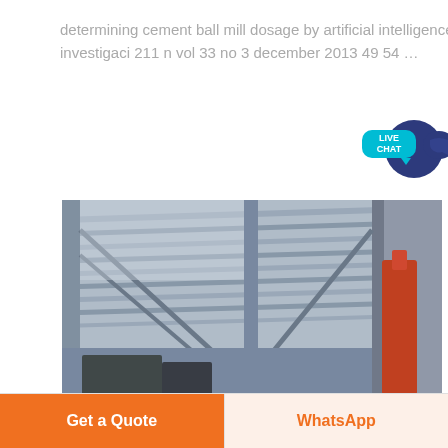determining cement ball mill dosage by artificial intelligence tools aimed at reducing energy 50 ingenier 205 a e investigaci 211 n vol 33 no 3 december 2013 49 54 …
[Figure (photo): Interior view of an industrial building under construction, showing a metal roof frame with corrugated steel sheets, diagonal bracing, and red construction equipment visible below.]